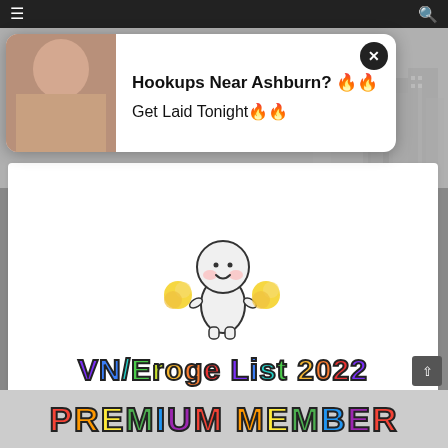Navigation bar with hamburger menu and search icon
[Figure (screenshot): Advertisement popup showing a person photo on the left and text 'Hookups Near Ashburn? Get Laid Tonight' on the right with a close button]
[Figure (illustration): Cute white cartoon mascot character holding yellow pom-poms]
VN/Eroge List 2022
PREMIUM MEMBER